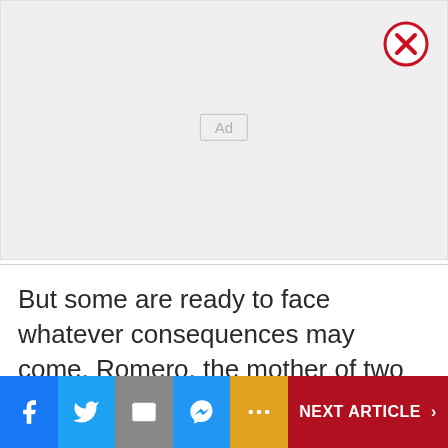[Figure (other): Advertisement placeholder box with 'Ad' label and a close (X) button in the top-right corner]
But some are ready to face whatever consequences may come. Romero, the mother of two from Valencia, insisted her kids will stay home as long as infection numbers don’t go down.
[Figure (infographic): Social sharing bar with Facebook, Twitter, Email, Messenger, More buttons and a NEXT ARTICLE button]